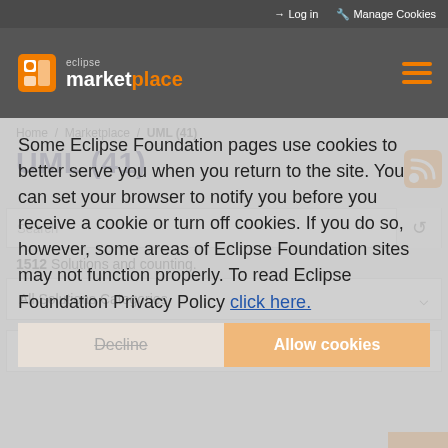Log in  Manage Cookies
[Figure (logo): Eclipse Marketplace logo with orange box icon and text 'eclipse marketplace']
Home / Marketplace / UML (41)
UML (41)
Some Eclipse Foundation pages use cookies to better serve you when you return to the site. You can set your browser to notify you before you receive a cookie or turn off cookies. If you do so, however, some areas of Eclipse Foundation sites may not function properly. To read Eclipse Foundation Privacy Policy click here.
Search
1512 Solutions and counting.
All Solutions Categories
All Markets
Decline
Allow cookies